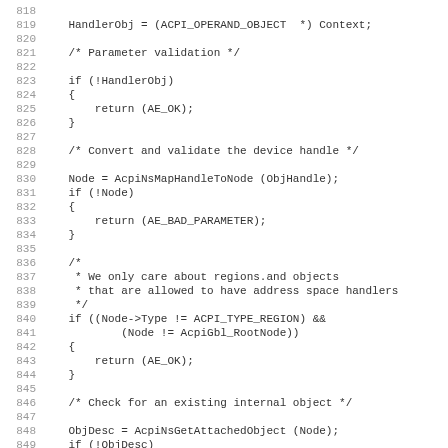Source code listing lines 819–850, C language ACPI code